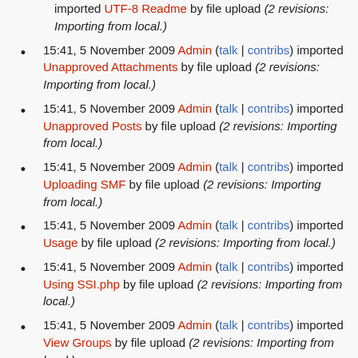imported UTF-8 Readme by file upload (2 revisions: Importing from local.)
15:41, 5 November 2009 Admin (talk | contribs) imported Unapproved Attachments by file upload (2 revisions: Importing from local.)
15:41, 5 November 2009 Admin (talk | contribs) imported Unapproved Posts by file upload (2 revisions: Importing from local.)
15:41, 5 November 2009 Admin (talk | contribs) imported Uploading SMF by file upload (2 revisions: Importing from local.)
15:41, 5 November 2009 Admin (talk | contribs) imported Usage by file upload (2 revisions: Importing from local.)
15:41, 5 November 2009 Admin (talk | contribs) imported Using SSI.php by file upload (2 revisions: Importing from local.)
15:41, 5 November 2009 Admin (talk | contribs) imported View Groups by file upload (2 revisions: Importing from local.)
15:41, 5 November 2009 Admin (talk | contribs) imported View all Members by file upload (2 revisions: